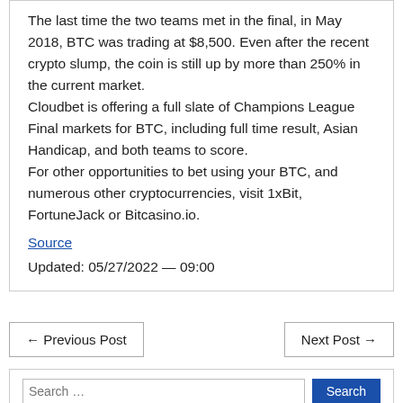The last time the two teams met in the final, in May 2018, BTC was trading at $8,500. Even after the recent crypto slump, the coin is still up by more than 250% in the current market.
Cloudbet is offering a full slate of Champions League Final markets for BTC, including full time result, Asian Handicap, and both teams to score.
For other opportunities to bet using your BTC, and numerous other cryptocurrencies, visit 1xBit, FortuneJack or Bitcasino.io.
Source
Updated: 05/27/2022 — 09:00
← Previous Post
Next Post →